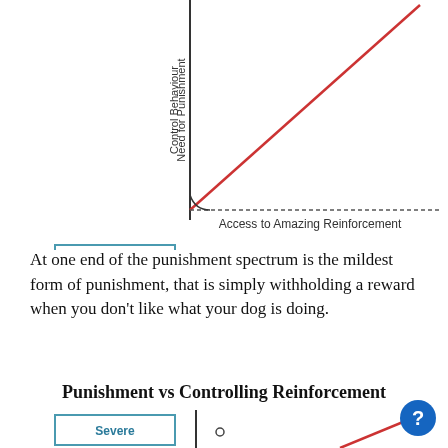[Figure (continuous-plot): Partial chart showing y-axis labeled 'Need for Punishment Control Behaviour' (rotated vertical text), a diagonal red line going up-right from origin, a horizontal dashed line labeled 'Access to Amazing Reinforcement', and a box on the left labeled 'Lowest level Punishment Withholding Rewards']
At one end of the punishment spectrum is the mildest form of punishment, that is simply withholding a reward when you don't like what your dog is doing.
Punishment vs Controlling Reinforcement
[Figure (continuous-plot): Bottom partial chart showing beginning of another 'Punishment vs Controlling Reinforcement' diagram with a box labeled 'Severe' and a red diagonal line starting from lower right]